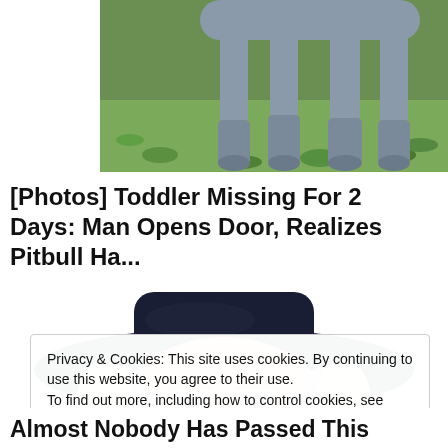[Figure (photo): Dog legs and lower body standing on grass, viewed from behind/side]
[Photos] Toddler Missing For 2 Days: Man Opens Door, Realizes Pitbull Ha...
12Up
[Figure (illustration): Quaker Oats man illustration - elderly man with white hair wearing a dark wide-brimmed hat, smiling, peeking from bottom of frame]
Privacy & Cookies: This site uses cookies. By continuing to use this website, you agree to their use.
To find out more, including how to control cookies, see here: Cookie Policy
Close and accept
Almost Nobody Has Passed This